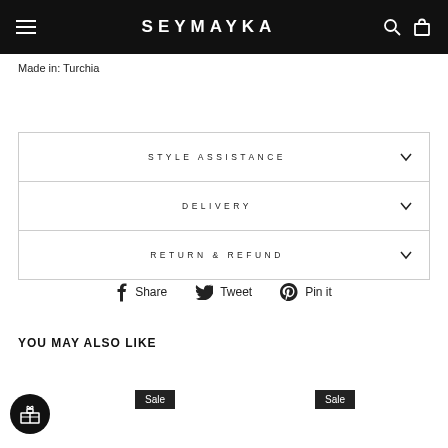SEYMAYKA
Made in: Turchia
STYLE ASSISTANCE
DELIVERY
RETURN & REFUND
Share  Tweet  Pin it
YOU MAY ALSO LIKE
Sale
Sale